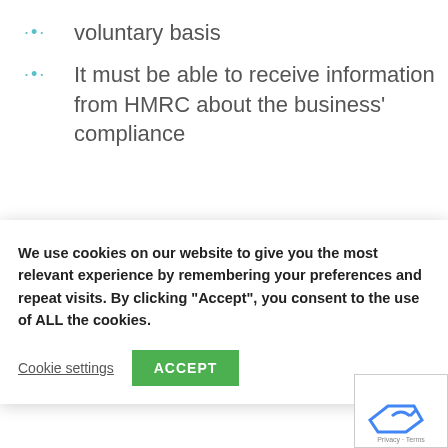voluntary basis
It must be able to receive information from HMRC about the business' compliance
We use cookies on our website to give you the most relevant experience by remembering your preferences and repeat visits. By clicking “Accept”, you consent to the use of ALL the cookies.
Cookie settings  ACCEPT
you choose independent software, then you will need to know its capabilities before you agree on using it.